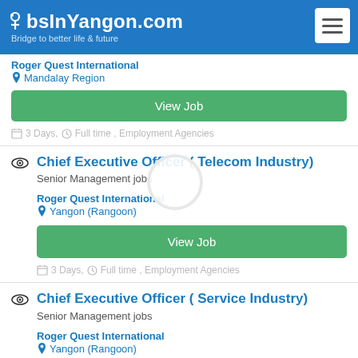JobsInYangon.com - Bridge to better life & future
Roger Quest International
Mandalay Region
View Job
3 Days, Full time , Employment Agencies
Chief Executive Officer ( Telecom Industry)
Senior Management jobs
Roger Quest International
Yangon (Rangoon)
View Job
3 Days, Full time , Employment Agencies
Chief Executive Officer ( Service Industry)
Senior Management jobs
Roger Quest International
Yangon (Rangoon)
View Job